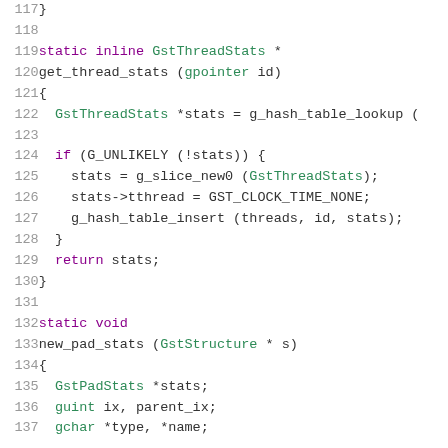[Figure (screenshot): Source code listing lines 117-137 of a C program showing static inline function get_thread_stats and beginning of new_pad_stats function, with syntax highlighting.]